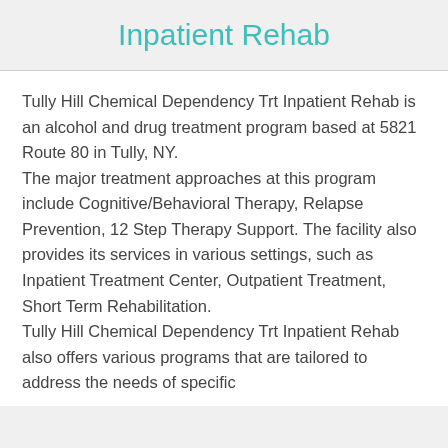Inpatient Rehab
Tully Hill Chemical Dependency Trt Inpatient Rehab is an alcohol and drug treatment program based at 5821 Route 80 in Tully, NY.
The major treatment approaches at this program include Cognitive/Behavioral Therapy, Relapse Prevention, 12 Step Therapy Support. The facility also provides its services in various settings, such as Inpatient Treatment Center, Outpatient Treatment, Short Term Rehabilitation.
Tully Hill Chemical Dependency Trt Inpatient Rehab also offers various programs that are tailored to address the needs of specific